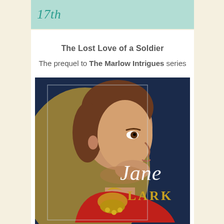17th
The Lost Love of a Soldier
The prequel to The Marlow Intrigues series
[Figure (photo): Book cover of 'The Lost Love of a Soldier' by Jane Lark, showing a young man in profile wearing a red and gold military uniform against a dark navy background, with the author's name 'Jane Lark' in elegant script and serif text.]